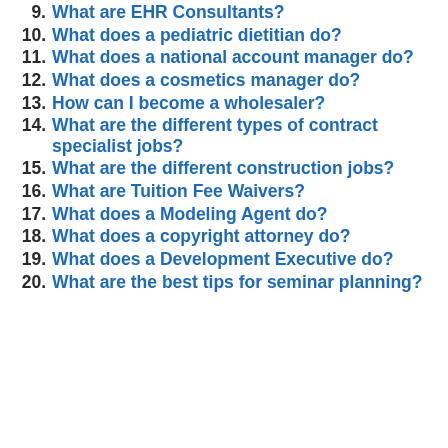9. What are EHR Consultants?
10. What does a pediatric dietitian do?
11. What does a national account manager do?
12. What does a cosmetics manager do?
13. How can I become a wholesaler?
14. What are the different types of contract specialist jobs?
15. What are the different construction jobs?
16. What are Tuition Fee Waivers?
17. What does a Modeling Agent do?
18. What does a copyright attorney do?
19. What does a Development Executive do?
20. What are the best tips for seminar planning?